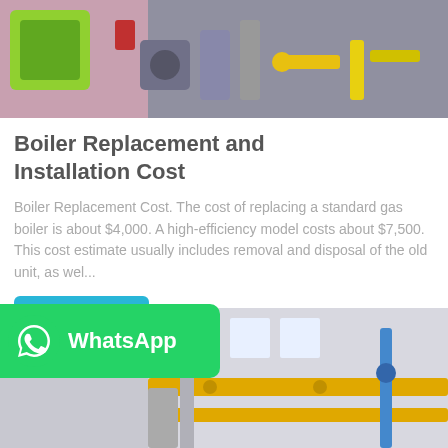[Figure (photo): Industrial boiler equipment with colorful pipes and machinery in a factory setting, top portion of page]
Boiler Replacement and Installation Cost
Boiler Replacement Cost. The cost of replacing a standard gas boiler is about $4,000. A high-efficiency model costs about $7,500. This cost estimate usually includes removal and disposal of the old unit, as wel...
[Figure (screenshot): Blue 'Get Price' button]
[Figure (photo): Industrial piping system with yellow and blue pipes inside a factory building, bottom portion of page]
[Figure (logo): WhatsApp green badge with WhatsApp icon and text 'WhatsApp']